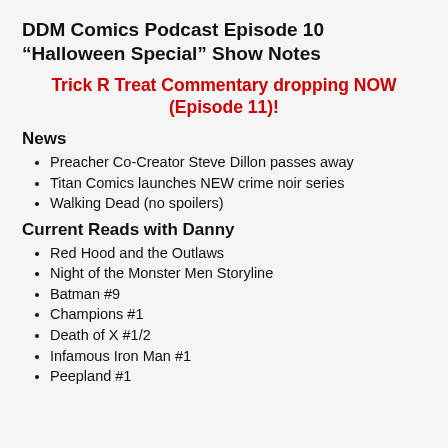DDM Comics Podcast Episode 10 “Halloween Special” Show Notes
Trick R Treat Commentary dropping NOW (Episode 11)!
News
Preacher Co-Creator Steve Dillon passes away
Titan Comics launches NEW crime noir series
Walking Dead (no spoilers)
Current Reads with Danny
Red Hood and the Outlaws
Night of the Monster Men Storyline
Batman #9
Champions #1
Death of X #1/2
Infamous Iron Man #1
Peepland #1